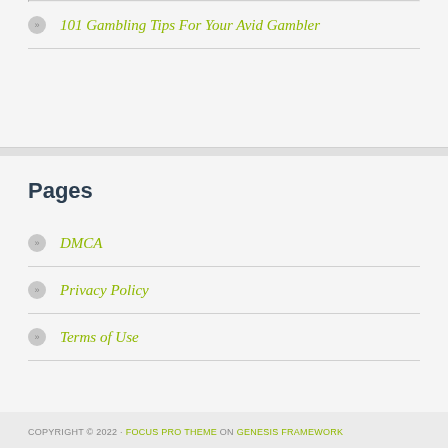101 Gambling Tips For Your Avid Gambler
Pages
DMCA
Privacy Policy
Terms of Use
COPYRIGHT © 2022 · FOCUS PRO THEME ON GENESIS FRAMEWORK